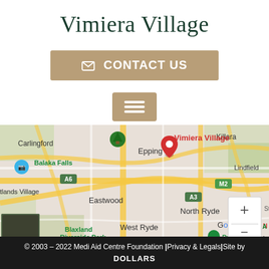Vimiera Village
✉ CONTACT US
[Figure (other): Hamburger menu button icon with three horizontal lines on a tan/brown background]
[Figure (map): Google Maps screenshot showing Vimiera Village location marker (red pin) in the Epping/Macquarie Park area of Sydney, Australia. Nearby labels include Carlingford, Balaka Falls, Epping, Macquarie Park, Killara, Lindfield, Eastwood, A6, A3, M2, North Ryde, West Ryde, Blaxland Riverside Park, Ryde Aquatic, Royal N, Google logo, Keyboard shortcuts, Map data ©2022 Google, Terms of Use]
© 2003 – 2022 Medi Aid Centre Foundation |Privacy & Legals|Site by DOLLARS